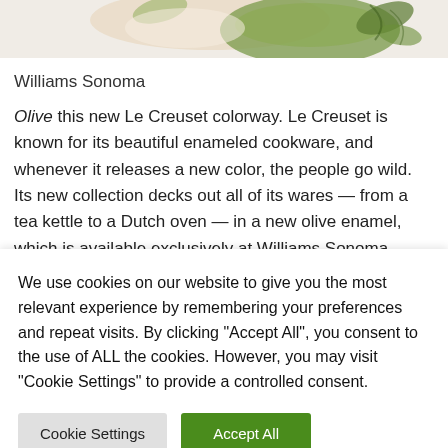[Figure (photo): Top portion of a styled food/cookware photo showing olive-colored Le Creuset cookware with flowers and greenery on a white background.]
Williams Sonoma
Olive this new Le Creuset colorway. Le Creuset is known for its beautiful enameled cookware, and whenever it releases a new color, the people go wild. Its new collection decks out all of its wares — from a tea kettle to a Dutch oven — in a new olive enamel, which is available exclusively at Williams Sonoma
We use cookies on our website to give you the most relevant experience by remembering your preferences and repeat visits. By clicking "Accept All", you consent to the use of ALL the cookies. However, you may visit "Cookie Settings" to provide a controlled consent.